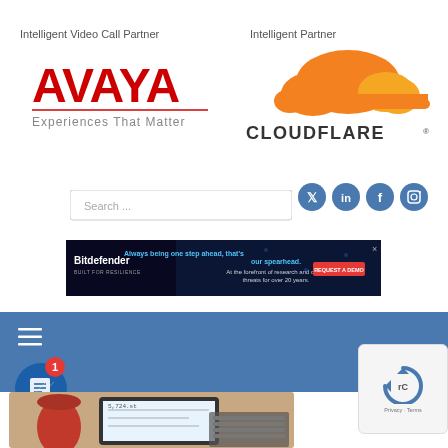Intelligent Video Call Partner
[Figure (logo): Avaya logo in red with tagline Experiences That Matter]
Intelligent Partner
[Figure (logo): Cloudflare logo with orange cloud icon and dark text CLOUDFLARE]
[Figure (other): Search input box with placeholder text Search ...]
[Figure (other): Social media icons: Twitter, LinkedIn, Facebook, Instagram in blue circles]
[Figure (other): Bitdefender advertisement banner: Always being one step ahead, that is our spearhead. At the forefront of research and cyber threats for over 20 years. REQUEST A DEMO button]
[Figure (other): Blue navigation bar with hamburger menu icon]
[Figure (other): Notification icon with red badge showing number 1, blue circle with book/document icon]
[Figure (photo): Photo of a tablet or mobile device with financial data on screen, red cup in background]
[Figure (other): reCAPTCHA widget showing Privacy and Terms links]